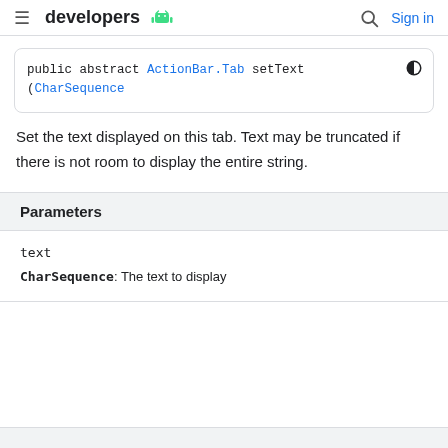developers [android icon] Sign in
public abstract ActionBar.Tab setText (CharSequence
Set the text displayed on this tab. Text may be truncated if there is not room to display the entire string.
| Parameters |
| --- |
| text |  |
| CharSequence: The text to display |  |